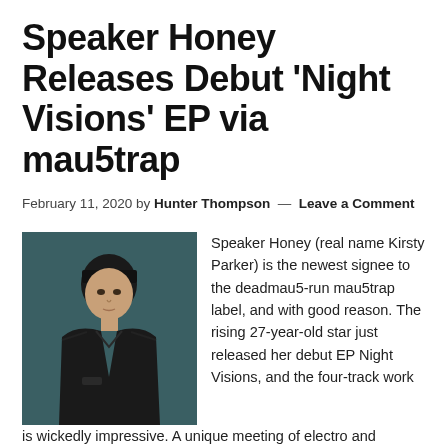Speaker Honey Releases Debut ‘Night Visions’ EP via mau5trap
February 11, 2020 by Hunter Thompson – Leave a Comment
[Figure (photo): Photo of Speaker Honey (Kirsty Parker), a young woman with short dark hair and bangs, wearing a dark jacket, against a teal/dark background.]
Speaker Honey (real name Kirsty Parker) is the newest signee to the deadmau5-run mau5trap label, and with good reason. The rising 27-year-old star just released her debut EP Night Visions, and the four-track work is wickedly impressive. A unique meeting of electro and techno, Speaker Honey’s full mau5trap debut is the